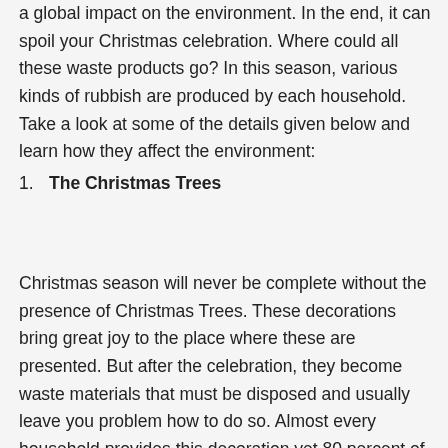a global impact on the environment. In the end, it can spoil your Christmas celebration. Where could all these waste products go? In this season, various kinds of rubbish are produced by each household. Take a look at some of the details given below and learn how they affect the environment:
1. The Christmas Trees
Christmas season will never be complete without the presence of Christmas Trees. These decorations bring great joy to the place where these are presented. But after the celebration, they become waste materials that must be disposed and usually leave you problem how to do so. Almost every household provides this decoration yet 80 percent of these things take a lot of space in the landfill rather than being recycled and reused.